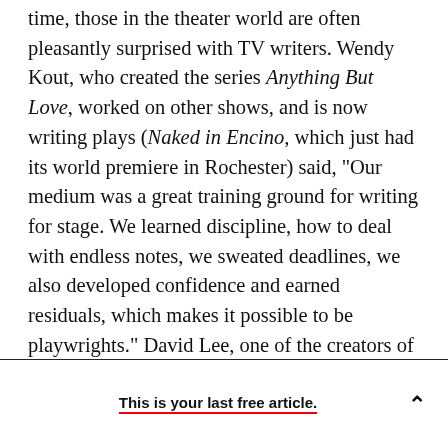time, those in the theater world are often pleasantly surprised with TV writers. Wendy Kout, who created the series Anything But Love, worked on other shows, and is now writing plays (Naked in Encino, which just had its world premiere in Rochester) said, "Our medium was a great training ground for writing for stage. We learned discipline, how to deal with endless notes, we sweated deadlines, we also developed confidence and earned residuals, which makes it possible to be playwrights." David Lee, one of the creators of Frasier and co-writer of Can Can, added "On sitcoms, remember, we basically do a little play in
This is your last free article.